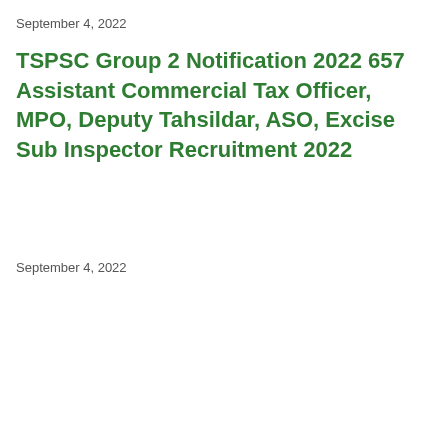September 4, 2022
TSPSC Group 2 Notification 2022 657 Assistant Commercial Tax Officer, MPO, Deputy Tahsildar, ASO, Excise Sub Inspector Recruitment 2022
September 4, 2022